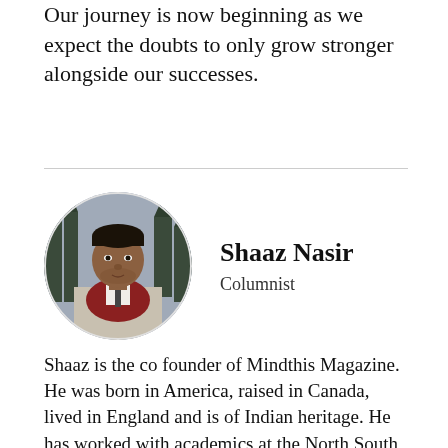Our journey is now beginning as we expect the doubts to only grow stronger alongside our successes.
[Figure (photo): Circular portrait photo of Shaaz Nasir, a man wearing a dark scarf and suit, with Gothic-style buildings in the background.]
Shaaz Nasir
Columnist
Shaaz is the co founder of Mindthis Magazine. He was born in America, raised in Canada, lived in England and is of Indian heritage. He has worked with academics at the North South Institute, leading government bureaucrats with a Canadian